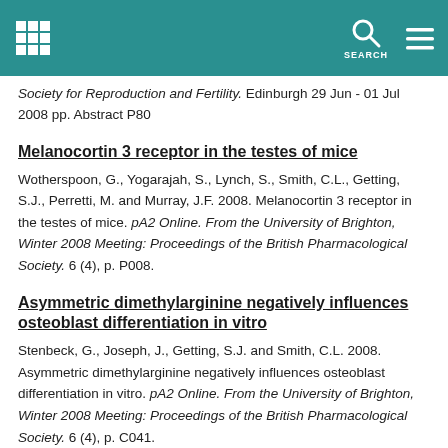SEARCH
Society for Reproduction and Fertility. Edinburgh 29 Jun - 01 Jul 2008 pp. Abstract P80
Melanocortin 3 receptor in the testes of mice
Wotherspoon, G., Yogarajah, S., Lynch, S., Smith, C.L., Getting, S.J., Perretti, M. and Murray, J.F. 2008. Melanocortin 3 receptor in the testes of mice. pA2 Online. From the University of Brighton, Winter 2008 Meeting: Proceedings of the British Pharmacological Society. 6 (4), p. P008.
Asymmetric dimethylarginine negatively influences osteoblast differentiation in vitro
Stenbeck, G., Joseph, J., Getting, S.J. and Smith, C.L. 2008. Asymmetric dimethylarginine negatively influences osteoblast differentiation in vitro. pA2 Online. From the University of Brighton, Winter 2008 Meeting: Proceedings of the British Pharmacological Society. 6 (4), p. C041.
The role of the actin cytoskeleton in